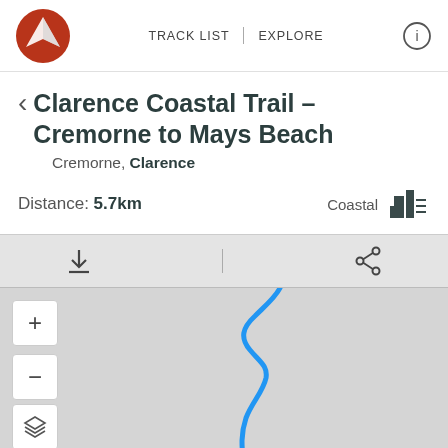[Figure (screenshot): App header with logo (dark red circular compass icon), TRACK LIST and EXPLORE navigation tabs, and info icon]
Clarence Coastal Trail – Cremorne to Mays Beach
Cremorne, Clarence
Distance: 5.7km   Coastal
[Figure (map): Grey map background with a blue trail line running from top-center diagonally down through the map area, plus zoom in/out controls and layer switcher on the left side]